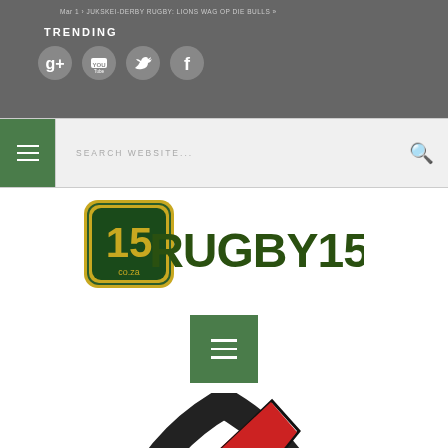Mar 1 › JUKSKEI-DERBY RUGBY: LIONS WAG OP DIE BULLS »
TRENDING
[Figure (logo): Social media icons: Google+, YouTube, Twitter, Facebook in grey circles]
[Figure (logo): Rugby15.co.za logo with green square containing '15 co.za' and dark green 'RUGBY15' text]
[Figure (infographic): Green hamburger menu button]
[Figure (logo): Eastern rugby team logo - partial view showing red and black mountain/chevron design with 'EASTERN' text at bottom]